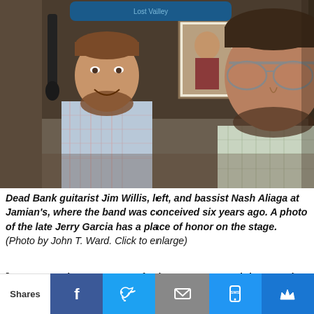[Figure (photo): Two men standing inside a music venue called Jamian's. On the left is Jim Willis, Dead Bank guitarist, wearing a plaid shirt and smiling. On the right is Nash Aliaga, bassist, wearing sunglasses and a plaid shirt. In the background are guitars, a framed photo of Jerry Garcia, and other music memorabilia.]
Dead Bank guitarist Jim Willis, left, and bassist Nash Aliaga at Jamian's, where the band was conceived six years ago. A photo of the late Jerry Garcia has a place of honor on the stage. (Photo by John T. Ward. Click to enlarge)
[UPDATE, July 7: Forecast of rain postpones tonight's Dead Bank show at the Dublin House. The band's 200th gig will